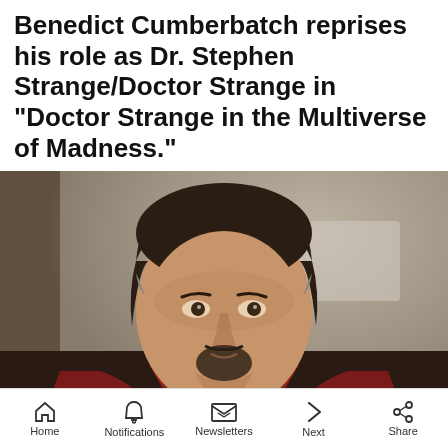Benedict Cumberbatch reprises his role as Dr. Stephen Strange/Doctor Strange in "Doctor Strange in the Multiverse of Madness."
[Figure (photo): Benedict Cumberbatch as Doctor Strange wearing his dark blue costume with the red Cloak of Levitation and the Eye of Agamotto amulet, looking upward against a blurred urban background.]
Home  Notifications  Newsletters  Next  Share